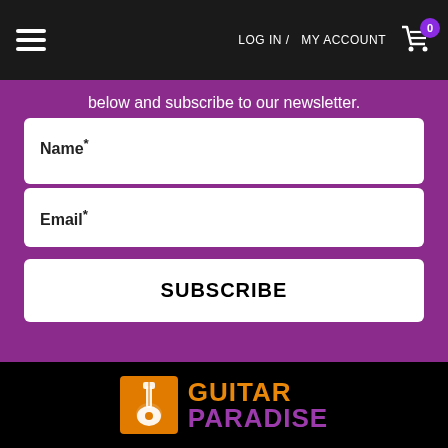LOG IN / MY ACCOUNT  0
below and subscribe to our newsletter.
Name*
Email*
SUBSCRIBE
[Figure (logo): Guitar Paradise logo with orange guitar icon and orange/purple text]